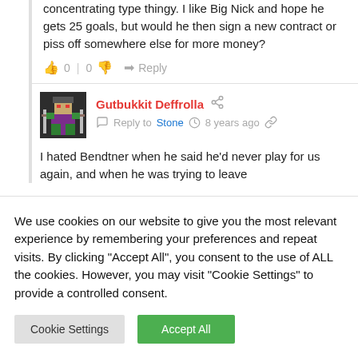concentrating type thingy. I like Big Nick and hope he gets 25 goals, but would he then sign a new contract or piss off somewhere else for more money?
0 | 0   Reply
Gutbukkit Deffrolla   Reply to Stone  8 years ago
I hated Bendtner when he said he'd never play for us again, and when he was trying to leave
We use cookies on our website to give you the most relevant experience by remembering your preferences and repeat visits. By clicking "Accept All", you consent to the use of ALL the cookies. However, you may visit "Cookie Settings" to provide a controlled consent.